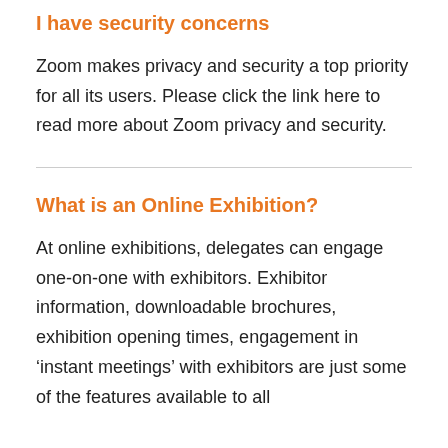I have security concerns
Zoom makes privacy and security a top priority for all its users. Please click the link here to read more about Zoom privacy and security.
What is an Online Exhibition?
At online exhibitions, delegates can engage one-on-one with exhibitors. Exhibitor information, downloadable brochures, exhibition opening times, engagement in ‘instant meetings’ with exhibitors are just some of the features available to all